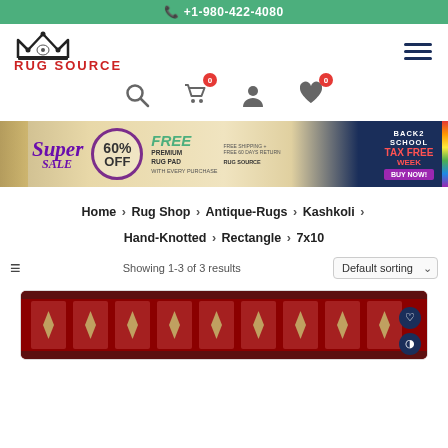+1-980-422-4080
[Figure (logo): Rug Source logo with crown icon and red bold text RUG SOURCE]
[Figure (infographic): Promotional banner: Super SALE 60% OFF, FREE Premium Rug Pad with every purchase, Free Shipping + Free 60 Days Return, Back2School TAX FREE WEEK, BUY NOW!]
Home > Rug Shop > Antique-Rugs > Kashkoli > Hand-Knotted > Rectangle > 7x10
Showing 1-3 of 3 results   Default sorting
[Figure (photo): Antique Kashkoli hand-knotted rectangle rug image, 7x10 size, dark red/burgundy pattern with decorative border]